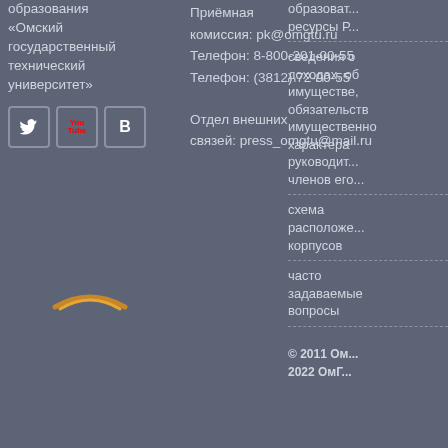образования «Омский государственный технический университет»
[Figure (logo): Social media icons: Twitter, YouTube, VKontakte]
Приёмная комиссия: pk@omgtu.ru
Телефон: 8-800-201-00-55
Телефон: (3812) 72-90-55
Отдел внешних связей: press_omgtu@mail.ru
образоват...
ресурсы Р...
сведения о доходах, об имуществе, обязательств имущественного характера руководит... членов его...
схема расположения корпусов
часто задаваемые вопросы
© 2011 Ом...
2022 ОмГ...